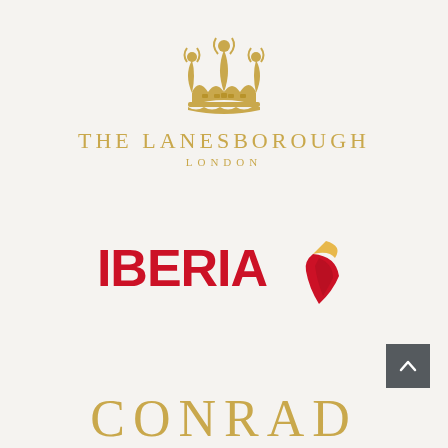[Figure (logo): The Lanesborough London hotel logo: gold crown icon above text 'THE LANESBOROUGH' and 'LONDON' in gold serif/spaced capitals]
[Figure (logo): Iberia airline logo: bold red 'IBERIA' text with red and gold stylized wing/feather to the right]
[Figure (logo): Conrad hotels logo: large gold serif text 'CONRAD' partially visible at bottom of page]
[Figure (other): Dark grey scroll-to-top button with upward chevron arrow, positioned bottom-right]